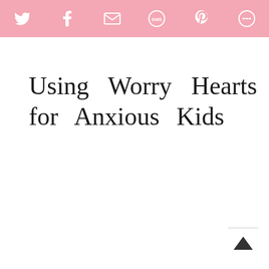[Figure (other): Pink social share bar with icons for Twitter, Facebook, Email, SMS, Pinterest, and More sharing options]
Using Worry Hearts for Anxious Kids
[Figure (other): Back to top arrow button in bottom right corner]